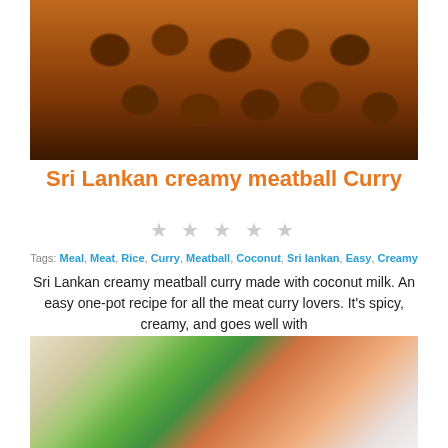[Figure (photo): Close-up photo of Sri Lankan meatballs in a dark curry sauce in a blue dish]
Sri Lankan creamy meatball Curry
[Figure (infographic): Five empty grey star rating icons]
Tags: Meal, Meat, Rice, Curry, Meatball, Coconut, Sri lankan, Easy, Creamy
Sri Lankan creamy meatball curry made with coconut milk. An easy one-pot recipe for all the meat curry lovers. It's spicy, creamy, and goes well with
[Figure (photo): Photo of a bowl of curry with vegetables including green beans, broccoli, carrots, and rice]